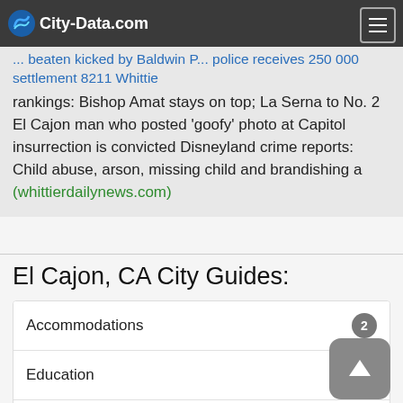City-Data.com
rankings: Bishop Amat stays on top; La Serna to No. 2 El Cajon man who posted ‘goofy’ photo at Capitol insurrection is convicted Disneyland crime reports: Child abuse, arson, missing child and brandishing a (whittierdailynews.com)
El Cajon, CA City Guides:
Accommodations 2
Education 4
Getting Here, Getting Around 1
Golf
Media 1